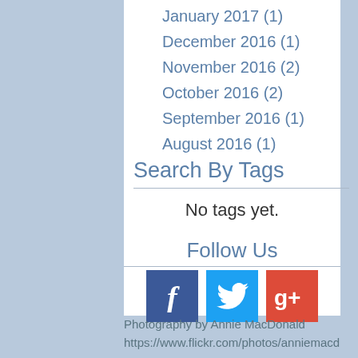January 2017 (1)
December 2016 (1)
November 2016 (2)
October 2016 (2)
September 2016 (1)
August 2016 (1)
Search By Tags
No tags yet.
Follow Us
[Figure (other): Social media icons: Facebook, Twitter, Google+]
Photography by Annie MacDonald
https://www.flickr.com/photos/anniemacd